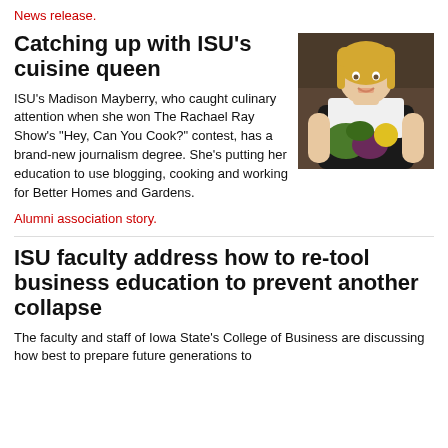News release.
Catching up with ISU's cuisine queen
[Figure (photo): Photo of Madison Mayberry, a young blonde woman in a white shirt and dark apron, holding fresh vegetables including purple cabbage and greens]
ISU's Madison Mayberry, who caught culinary attention when she won The Rachael Ray Show's "Hey, Can You Cook?" contest, has a brand-new journalism degree. She's putting her education to use blogging, cooking and working for Better Homes and Gardens.
Alumni association story.
ISU faculty address how to re-tool business education to prevent another collapse
The faculty and staff of Iowa State's College of Business are discussing how best to prepare future generations to